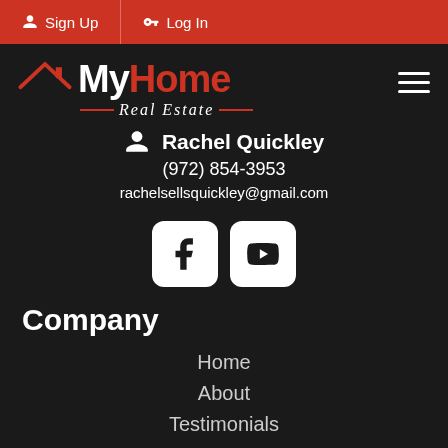Sign Up | Log In
[Figure (logo): MyHome Real Estate logo with house icon, red roof, white text]
Rachel Quickley
(972) 854-3953
rachelsellsquickley@gmail.com
[Figure (infographic): Facebook and YouTube social media icons in white rounded square buttons]
Company
Home
About
Testimonials